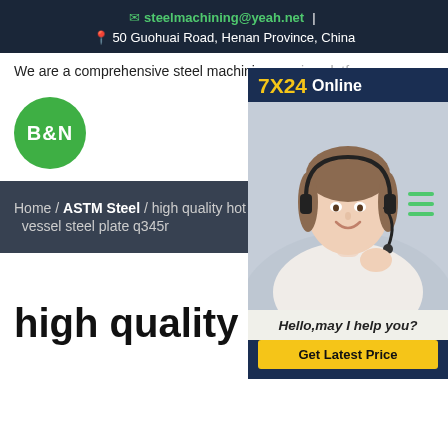steelmachining@yeah.net | 50 Guohuai Road, Henan Province, China
We are a comprehensive steel machining s...
[Figure (logo): B&N green circle logo]
[Figure (infographic): 7X24 Online chat popup with customer service representative photo, Hello,may I help you? text, and Get Latest Price button]
Home / ASTM Steel / high quality hot rolled vessel steel plate q345r
high quality hot rolled